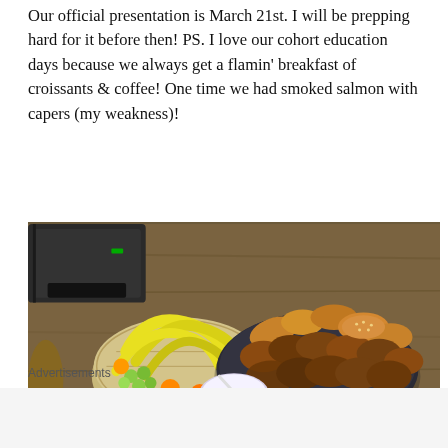Our official presentation is March 21st. I will be prepping hard for it before then! PS. I love our cohort education days because we always get a flamin' breakfast of croissants & coffee! One time we had smoked salmon with capers (my weakness)!
[Figure (photo): A wooden table with a basket of fruit (bananas, green grapes, oranges), a large plate of pastries (croissants, Danish pastries, chocolate buns), a bowl of cream, and a bowl of jam. A conference phone is visible in the background.]
Advertisements